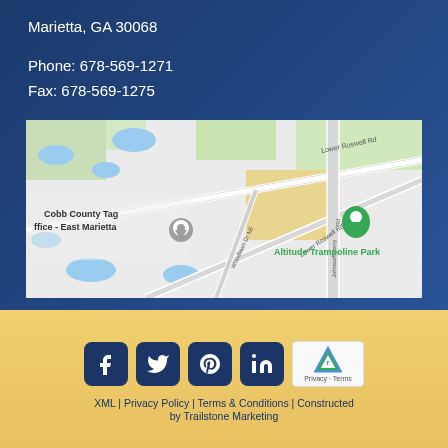Marietta, GA 30068
Phone: 678-569-1271
Fax: 678-569-1275
[Figure (map): Google Maps screenshot showing Lower Roswell Rd area in Marietta, GA with a green location pin on Altitude Trampoline Park and a gray marker near Cobb County Tag Office - East Marietta. Streets include Lower Roswell Rd, Woodlawn Dr NE, Johnson Ferry Rd.]
[Figure (infographic): Footer with social media icons (Facebook, Twitter, Pinterest, LinkedIn) in dark blue rounded squares on gold background, plus reCAPTCHA badge]
XML | Privacy Policy | Terms & Conditions | Constructed
by Trailstone Marketing